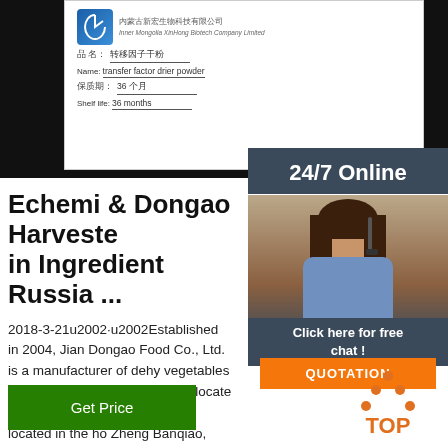[Figure (photo): Product label showing company logo, Chinese and English text: company name 'Inner Mongolia XinHong Biotech Company Limited', product name in Chinese and English 'transfer factor drier powder', shelf life in Chinese '36个月' and English '36 months']
24/7 Online
[Figure (photo): Customer service agent woman with headset smiling]
Click here for free chat !
QUOTATION
Echemi & Dongao Harveste in Ingredient Russia ...
2018-3-21u2002·u2002Established in 2004, Jian Dongao Food Co., Ltd. is a manufacturer of dehy vegetables and condiments. The factory is locate middle of the Soviet Union. It is located in the ho Zheng Banqiao, Xinghua, where there are many vegetables and abundant resources, Known as 'vegetable village' reputation. Dongao ...
Get Price
[Figure (other): TOP icon with orange dots forming triangle shape above orange text 'TOP']